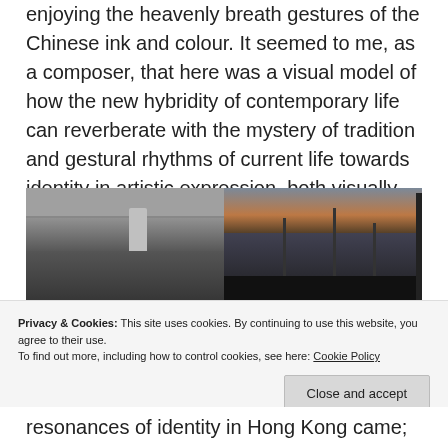enjoying the heavenly breath gestures of the Chinese ink and colour. It seemed to me, as a composer, that here was a visual model of how the new hybridity of contemporary life can reverberate with the mystery of tradition and gestural rhythms of current life towards identity in artistic expression, both visually and sonically.
[Figure (photo): Two side-by-side photographs: left shows a music studio with equipment, a person standing, and a music stand; right shows an industrial scene with cranes and a dramatic sky at dusk.]
Privacy & Cookies: This site uses cookies. By continuing to use this website, you agree to their use.
To find out more, including how to control cookies, see here: Cookie Policy
resonances of identity in Hong Kong came;